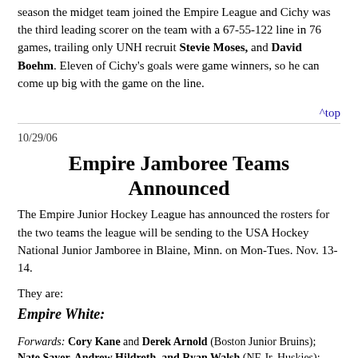season the midget team joined the Empire League and Cichy was the third leading scorer on the team with a 67-55-122 line in 76 games, trailing only UNH recruit Stevie Moses, and David Boehm. Eleven of Cichy's goals were game winners, so he can come up big with the game on the line.
^top
10/29/06
Empire Jamboree Teams Announced
The Empire Junior Hockey League has announced the rosters for the two teams the league will be sending to the USA Hockey National Junior Jamboree in Blaine, Minn. on Mon-Tues. Nov. 13-14.
They are:
Empire White:
Forwards: Cory Kane and Derek Arnold (Boston Junior Bruins); Nate Sayer, Andrew Hildreth, and Ryan Walsh (NE Jr. Huskies); Nick Hartnett and Chad